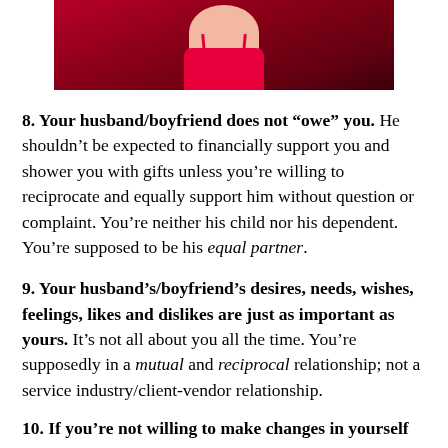[Figure (photo): Partial photo of a woman in a red dress against a dark red background, cropped at the top of the page]
8. Your husband/boyfriend does not “owe” you. He shouldn’t be expected to financially support you and shower you with gifts unless you’re willing to reciprocate and equally support him without question or complaint. You’re neither his child nor his dependent. You’re supposed to be his equal partner.
9. Your husband’s/boyfriend’s desires, needs, wishes, feelings, likes and dislikes are just as important as yours. It’s not all about you all the time. You’re supposedly in a mutual and reciprocal relationship; not a service industry/client-vendor relationship.
10. If you’re not willing to make changes in yourself...